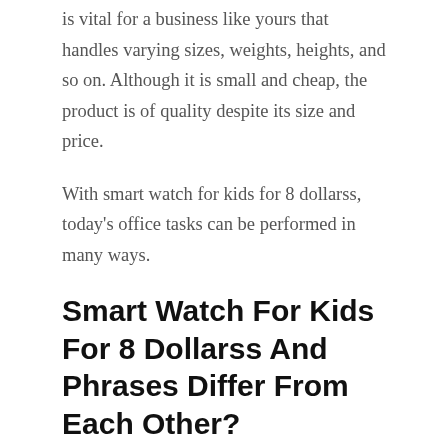is vital for a business like yours that handles varying sizes, weights, heights, and so on. Although it is small and cheap, the product is of quality despite its size and price.
With smart watch for kids for 8 dollarss, today's office tasks can be performed in many ways.
Smart Watch For Kids For 8 Dollarss And Phrases Differ From Each Other?
It depends on what you want to achieve when selecting a smart watch for kids for 8 dollars type. The small size of smart watch for kids for 8 dollarss makes them versatile. It is possible to carry small items in